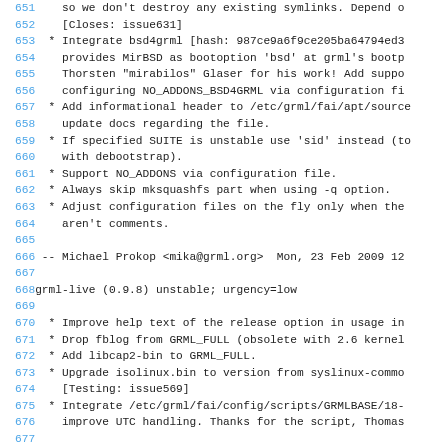Code/changelog listing, lines 651-677, showing grml-live debian changelog entries
651: so we don't destroy any existing symlinks. Depend o
652: [Closes: issue631]
653: * Integrate bsd4grml [hash: 987ce9a6f9ce205ba64794ed3
654: provides MirBSD as bootoption 'bsd' at grml's bootp
655: Thorsten "mirabilos" Glaser for his work! Add suppo
656: configuring NO_ADDONS_BSD4GRML via configuration fi
657: * Add informational header to /etc/grml/fai/apt/source
658: update docs regarding the file.
659: * If specified SUITE is unstable use 'sid' instead (to
660: with debootstrap).
661: * Support NO_ADDONS via configuration file.
662: * Always skip mksquashfs part when using -q option.
663: * Adjust configuration files on the fly only when the
664: aren't comments.
665: (blank)
666: -- Michael Prokop <mika@grml.org>  Mon, 23 Feb 2009 12
667: (blank)
668: grml-live (0.9.8) unstable; urgency=low
669: (blank)
670: * Improve help text of the release option in usage in
671: * Drop fblog from GRML_FULL (obsolete with 2.6 kernel
672: * Add libcap2-bin to GRML_FULL.
673: * Upgrade isolinux.bin to version from syslinux-commo
674: [Testing: issue569]
675: * Integrate /etc/grml/fai/config/scripts/GRMLBASE/18-
676: improve UTC handling. Thanks for the script, Thomas
677: (blank)